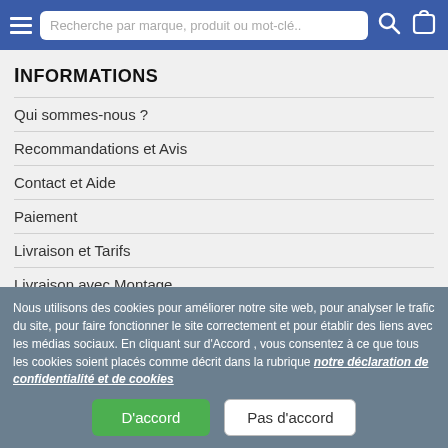Recherche par marque, produit ou mot-clé..
Informations
Qui sommes-nous ?
Recommandations et Avis
Contact et Aide
Paiement
Livraison et Tarifs
Livraison avec Montage
Annuler ou retourner et la garantie
Notre e-catalogue J-Line by Jolipa
Nous utilisons des cookies pour améliorer notre site web, pour analyser le trafic du site, pour faire fonctionner le site correctement et pour établir des liens avec les médias sociaux. En cliquant sur d'Accord , vous consentez à ce que tous les cookies soient placés comme décrit dans la rubrique notre déclaration de confidentialité et de cookies
D'accord | Pas d'accord